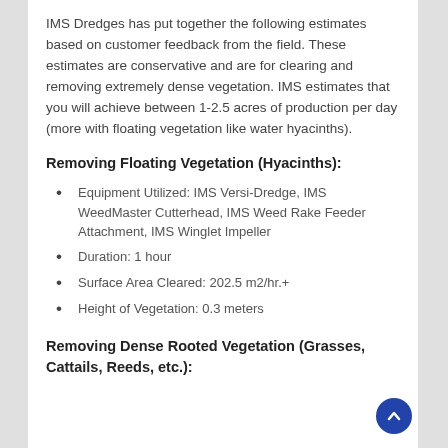IMS Dredges has put together the following estimates based on customer feedback from the field. These estimates are conservative and are for clearing and removing extremely dense vegetation. IMS estimates that you will achieve between 1-2.5 acres of production per day (more with floating vegetation like water hyacinths).
Removing Floating Vegetation (Hyacinths):
Equipment Utilized: IMS Versi-Dredge, IMS WeedMaster Cutterhead, IMS Weed Rake Feeder Attachment, IMS Winglet Impeller
Duration: 1 hour
Surface Area Cleared: 202.5 m2/hr.+
Height of Vegetation: 0.3 meters
Removing Dense Rooted Vegetation (Grasses, Cattails, Reeds, etc.):